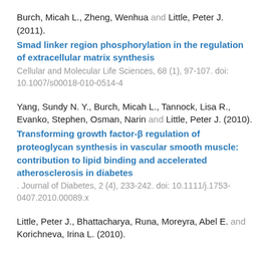Burch, Micah L., Zheng, Wenhua and Little, Peter J. (2011).
Smad linker region phosphorylation in the regulation of extracellular matrix synthesis. Cellular and Molecular Life Sciences, 68 (1), 97-107. doi: 10.1007/s00018-010-0514-4
Yang, Sundy N. Y., Burch, Micah L., Tannock, Lisa R., Evanko, Stephen, Osman, Narin and Little, Peter J. (2010).
Transforming growth factor-β regulation of proteoglycan synthesis in vascular smooth muscle: contribution to lipid binding and accelerated atherosclerosis in diabetes. Journal of Diabetes, 2 (4), 233-242. doi: 10.1111/j.1753-0407.2010.00089.x
Little, Peter J., Bhattacharya, Runa, Moreyra, Abel E. and Korichneva, Irina L. (2010).